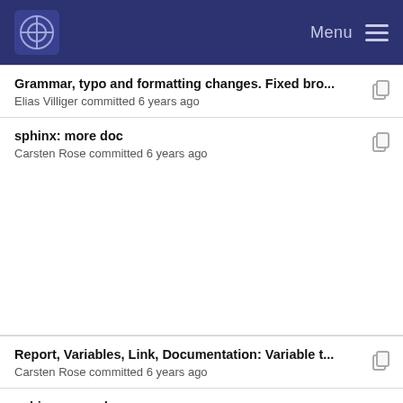Menu
Grammar, typo and formatting changes. Fixed bro...
Elias Villiger committed 6 years ago
sphinx: more doc
Carsten Rose committed 6 years ago
Report, Variables, Link, Documentation: Variable t...
Carsten Rose committed 6 years ago
sphinx: more doc
Carsten Rose committed 6 years ago